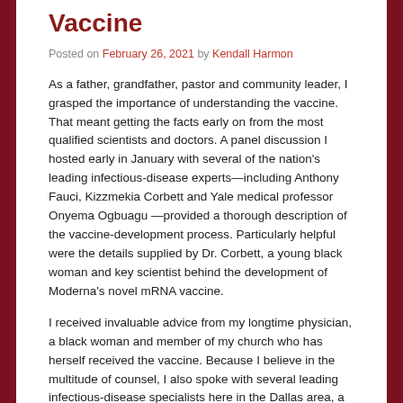Vaccine
Posted on February 26, 2021 by Kendall Harmon
As a father, grandfather, pastor and community leader, I grasped the importance of understanding the vaccine. That meant getting the facts early on from the most qualified scientists and doctors. A panel discussion I hosted early in January with several of the nation's leading infectious-disease experts—including Anthony Fauci, Kizzmekia Corbett and Yale medical professor Onyema Ogbuagu —provided a thorough description of the vaccine-development process. Particularly helpful were the details supplied by Dr. Corbett, a young black woman and key scientist behind the development of Moderna's novel mRNA vaccine.
I received invaluable advice from my longtime physician, a black woman and member of my church who has herself received the vaccine. Because I believe in the multitude of counsel, I also spoke with several leading infectious-disease specialists here in the Dallas area, a metropolis that is home to many globally renowned health-care facilities.
Eventually, it came down to common sense. I am a 63-year-old black man, a little overweight and with